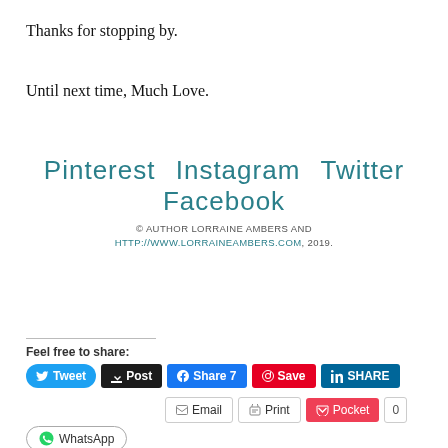Thanks for stopping by.
Until next time, Much Love.
Pinterest   Instagram   Twitter   Facebook
© AUTHOR LORRAINE AMBERS AND HTTP://WWW.LORRAINEAMBERS.COM, 2019.
Feel free to share:
Tweet  Post  Share 7  Save  SHARE
Email  Print  Pocket  0
WhatsApp